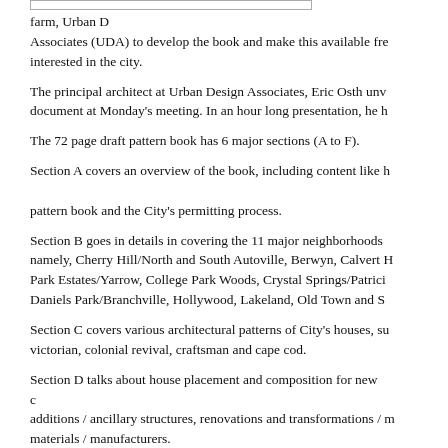farm, Urban Design Associates (UDA) to develop the book and make this available free to anyone interested in the city.
The principal architect at Urban Design Associates, Eric Osth unveiled the document at Monday's meeting. In an hour long presentation, he highlighted...
The 72 page draft pattern book has 6 major sections (A to F).
Section A covers an overview of the book, including content like how to use the pattern book and the City's permitting process.
Section B goes in details in covering the 11 major neighborhoods of the city, namely, Cherry Hill/North and South Autoville, Berwyn, Calvert Hills/College Park Estates/Yarrow, College Park Woods, Crystal Springs/Patricia Woods/Daniels Park/Branchville, Hollywood, Lakeland, Old Town and Su...
Section C covers various architectural patterns of City's houses, such as victorian, colonial revival, craftsman and cape cod.
Section D talks about house placement and composition for new construction, additions / ancillary structures, renovations and transformations / materials / manufacturers.
The section E covers sustainability part of housing designs and improvements, such as site design, energy efficiency, living environment, outdoor...